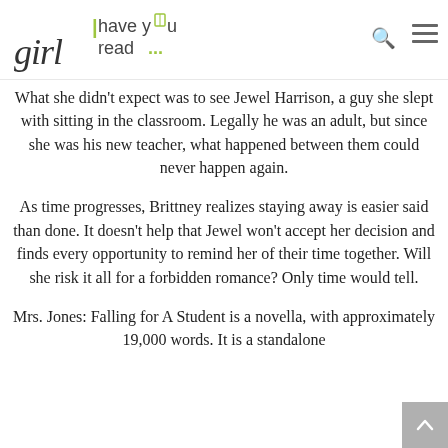girl have you read...
What she didn't expect was to see Jewel Harrison, a guy she slept with sitting in the classroom. Legally he was an adult, but since she was his new teacher, what happened between them could never happen again.
As time progresses, Brittney realizes staying away is easier said than done. It doesn't help that Jewel won't accept her decision and finds every opportunity to remind her of their time together. Will she risk it all for a forbidden romance? Only time would tell.
Mrs. Jones: Falling for A Student is a novella, with approximately 19,000 words. It is a standalone